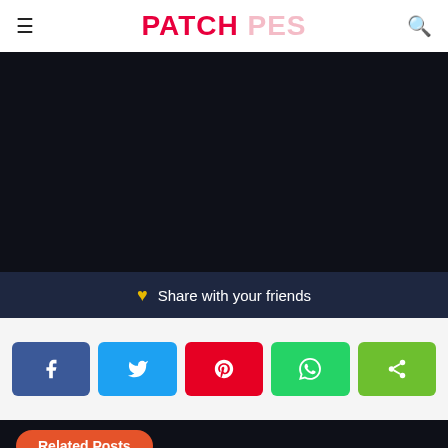PATCH PES
[Figure (screenshot): Dark/black content area representing a video or embedded media player on the PATCH PES website]
♥ Share with your friends
[Figure (infographic): Row of five social share buttons: Facebook (blue, f icon), Twitter (light blue, bird icon), Pinterest (red, P icon), WhatsApp (green, phone icon), Share (lime green, share icon)]
Related Posts